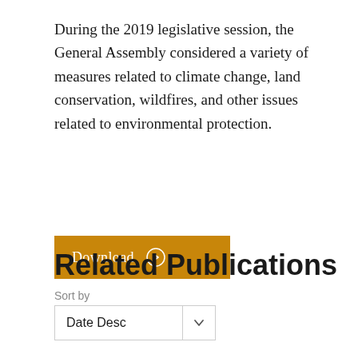During the 2019 legislative session, the General Assembly considered a variety of measures related to climate change, land conservation, wildfires, and other issues related to environmental protection.
[Figure (other): Orange download button with text 'Download' and a right-arrow circle icon]
Related Publications
Sort by
Date Desc